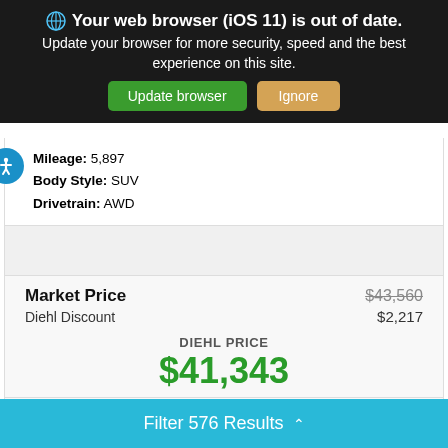[Figure (screenshot): Browser update warning banner with globe icon, text 'Your web browser (iOS 11) is out of date. Update your browser for more security, speed and the best experience on this site.' with two buttons: 'Update browser' (green) and 'Ignore' (tan)]
Mileage: 5,897
Body Style: SUV
Drivetrain: AWD
Market Price $43,560
Diehl Discount $2,217
DIEHL PRICE
$41,343
Start Buying Process
Filter 576 Results ^